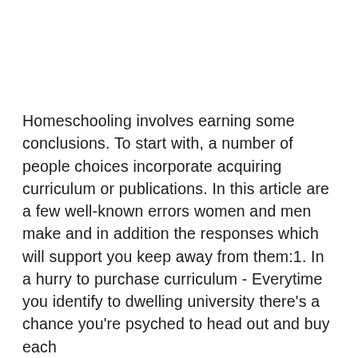Homeschooling involves earning some conclusions. To start with, a number of people choices incorporate acquiring curriculum or publications. In this article are a few well-known errors women and men make and in addition the responses which will support you keep away from them:1. In a hurry to purchase curriculum - Everytime you identify to dwelling university there's a chance you're psyched to head out and buy each